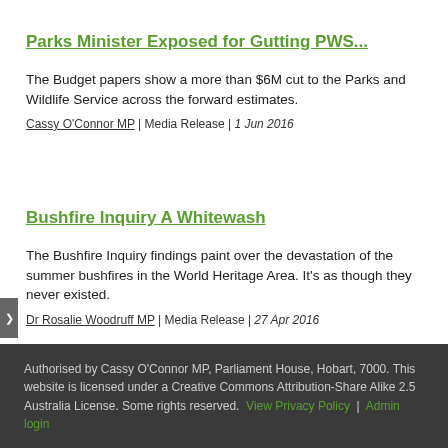Parks Minister Exposed for Gutting PWS...
The Budget papers show a more than $6M cut to the Parks and Wildlife Service across the forward estimates.
Cassy O'Connor MP | Media Release | 1 Jun 2016
Bushfire Inquiry A Whitewash
The Bushfire Inquiry findings paint over the devastation of the summer bushfires in the World Heritage Area. It's as though they never existed.
Dr Rosalie Woodruff MP | Media Release | 27 Apr 2016
Authorised by Cassy O'Connor MP, Parliament House, Hobart, 7000. This website is licensed under a Creative Commons Attribution-Share Alike 2.5 Australia License. Some rights reserved. View Privacy Policy | Admin login